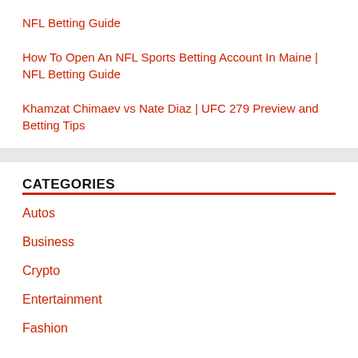NFL Betting Guide
How To Open An NFL Sports Betting Account In Maine | NFL Betting Guide
Khamzat Chimaev vs Nate Diaz | UFC 279 Preview and Betting Tips
CATEGORIES
Autos
Business
Crypto
Entertainment
Fashion